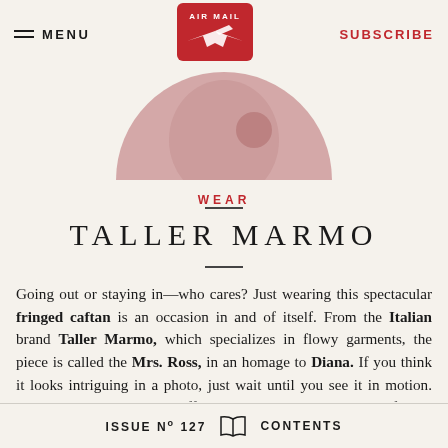MENU | AIR MAIL | SUBSCRIBE
[Figure (illustration): Partial circular cropped image showing a rose/pink toned garment or figure against light background]
WEAR
TALLER MARMO
Going out or staying in—who cares? Just wearing this spectacular fringed caftan is an occasion in and of itself. From the Italian brand Taller Marmo, which specializes in flowy garments, the piece is called the Mrs. Ross, in an homage to Diana. If you think it looks intriguing in a photo, just wait until you see it in motion. The antique rose crêpe is offset with pomegranate-colored fringe, and the cut ensures that no Skims or (heaven forbid) Spanx are necessary. It's a comfortable and comforting way to
ISSUE No 127   CONTENTS